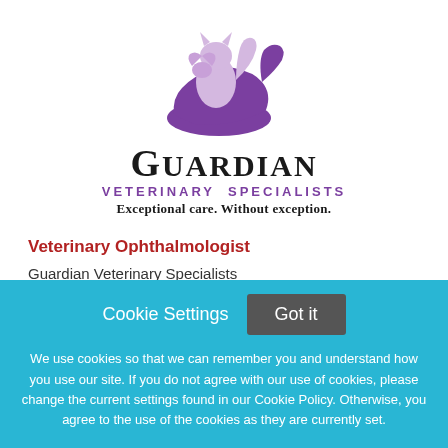[Figure (logo): Guardian Veterinary Specialists logo: purple stylized hand holding a cat and bird silhouette, with 'GUARDIAN' in large serif font, 'VETERINARY SPECIALISTS' in purple uppercase sans-serif, and tagline 'Exceptional care. Without exception.']
Veterinary Ophthalmologist
Guardian Veterinary Specialists
Cookie Settings   Got it

We use cookies so that we can remember you and understand how you use our site. If you do not agree with our use of cookies, please change the current settings found in our Cookie Policy. Otherwise, you agree to the use of the cookies as they are currently set.